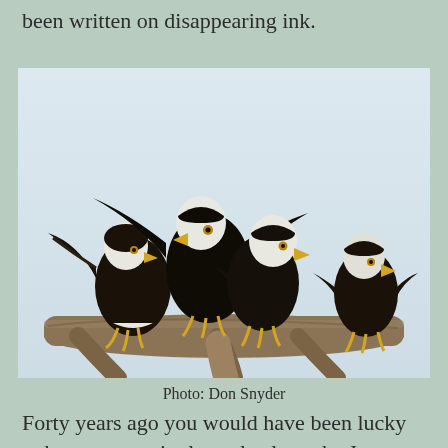been written on disappearing ink.
[Figure (photo): Four bald eagles perched on a bare tree branch against a pale blue-white sky background. Photo by Don Snyder.]
Photo: Don Snyder
Forty years ago you would have been lucky to have seen a single eagle along the James; fewer than thirty pairs nested across the entire state. But after the poisons were banned by